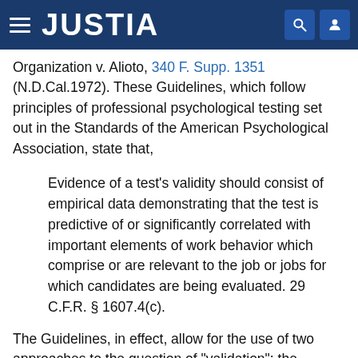JUSTIA
Organization v. Alioto, 340 F. Supp. 1351 (N.D.Cal.1972). These Guidelines, which follow principles of professional psychological testing set out in the Standards of the American Psychological Association, state that,
Evidence of a test's validity should consist of empirical data demonstrating that the test is predictive of or significantly correlated with important elements of work behavior which comprise or are relevant to the job or jobs for which candidates are being evaluated. 29 C.F.R. § 1607.4(c).
The Guidelines, in effect, allow for the use of two approaches to the question of "validation": the employer can attempt to show either "predictive validation" or